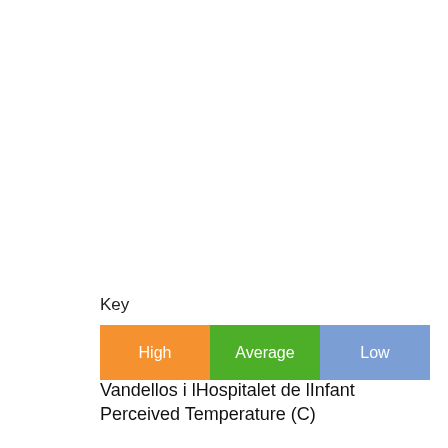[Figure (infographic): Legend/key showing three colored boxes: High (orange), Average (green), Low (blue/purple)]
Vandellos i lHospitalet de lInfant Perceived Temperature (C)